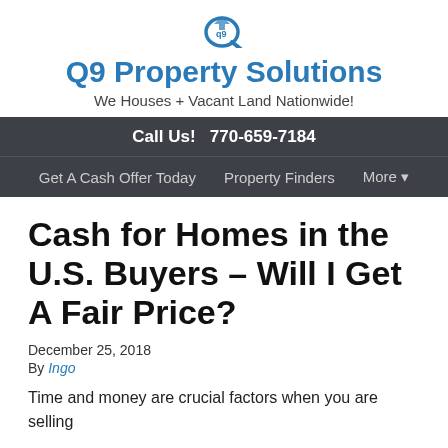[Figure (logo): Q9 Property Solutions logo icon — stylized house/Q shape in blue]
Q9 Property Solutions
We Houses + Vacant Land Nationwide!
Call Us!  770-659-7184
Get A Cash Offer Today   Property Finders   More ▾
Cash for Homes in the U.S. Buyers – Will I Get A Fair Price?
December 25, 2018
By Ingo
Time and money are crucial factors when you are selling